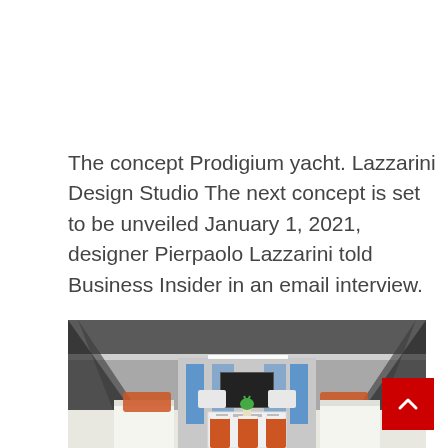The concept Prodigium yacht. Lazzarini Design Studio The next concept is set to be unveiled January 1, 2021, designer Pierpaolo Lazzarini told Business Insider in an email interview.
[Figure (photo): Interior rendering of a luxury yacht dining area with orange chairs around a white dining table set with glasses and a green plant centerpiece. The space features diagonal structural beams with views to water, orange lounge seating areas, bookshelves along the sides, and a large screen at the far end.]